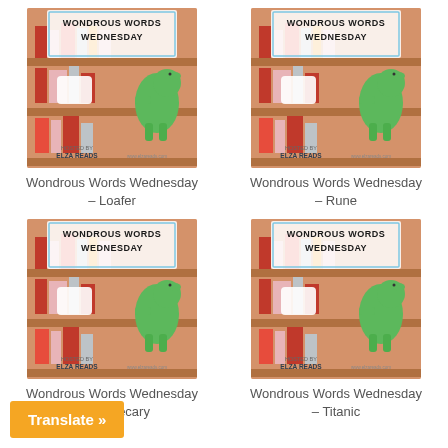[Figure (illustration): Wondrous Words Wednesday logo with dinosaur reading among books, hosted by ElzaReads]
Wondrous Words Wednesday – Loafer
[Figure (illustration): Wondrous Words Wednesday logo with dinosaur reading among books, hosted by ElzaReads]
Wondrous Words Wednesday – Rune
[Figure (illustration): Wondrous Words Wednesday logo with dinosaur reading among books, hosted by ElzaReads]
Wondrous Words Wednesday – Apothecary
[Figure (illustration): Wondrous Words Wednesday logo with dinosaur reading among books, hosted by ElzaReads]
Wondrous Words Wednesday – Titanic
Translate »